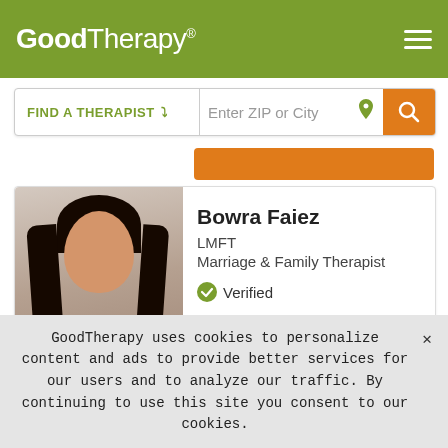GoodTherapy®
[Figure (screenshot): GoodTherapy website header with logo, hamburger menu, and search bar with FIND A THERAPIST dropdown and Enter ZIP or City input]
Bowra Faiez
LMFT
Marriage & Family Therapist
✓ Verified
Huntington Beach, California 92649    PALM DESERT, California 92260
GoodTherapy uses cookies to personalize content and ads to provide better services for our users and to analyze our traffic. By continuing to use this site you consent to our cookies.